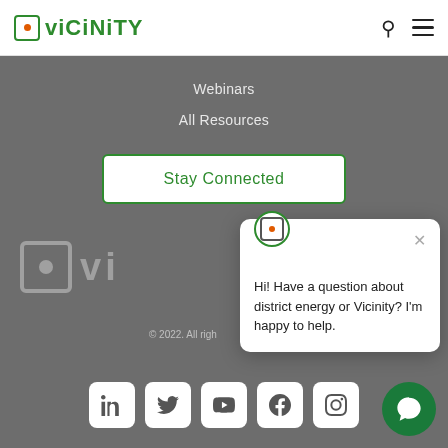[Figure (logo): Vicinity logo with green square icon containing orange dot and green bold text 'viCiNiTY', plus search and hamburger menu icons]
Webinars
All Resources
Stay Connected
[Figure (logo): Watermark Vicinity logo in white, partially visible]
© 2022. All rights reserved. Terms...
[Figure (infographic): Social media icon buttons: LinkedIn, Twitter, YouTube, Facebook, Instagram]
[Figure (infographic): Chat popup with Vicinity avatar and message: Hi! Have a question about district energy or Vicinity? I'm happy to help.]
[Figure (infographic): Green circular chat bubble button in bottom right corner]